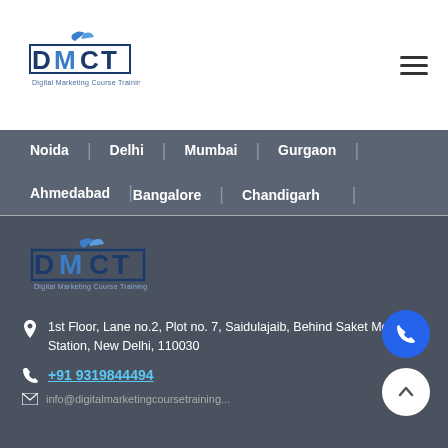[Figure (logo): DMCT - Digital Marketing Course Training logo, blue and white, with bird icon]
[Figure (illustration): Hamburger menu icon (three horizontal lines) in top right corner]
Noida
Delhi
Mumbai
Gurgaon
Ahmedabad
Bangalore
Chandigarh
[Figure (logo): DMCT - Digital Marketing Course Training logo on dark background, blue and white, with bird icon]
1st Floor, Lane no.2, Plot no. 7, Saidulajaib, Behind Saket Metro Station, New Delhi, 110030
+91 9319844494